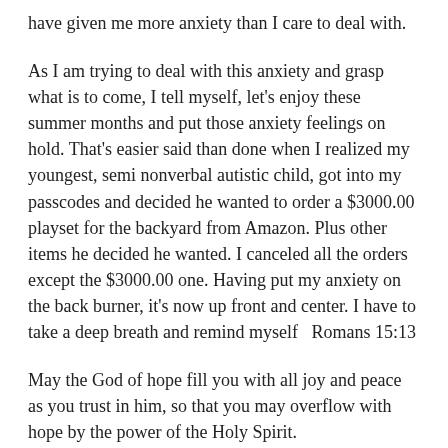have given me more anxiety than I care to deal with.
As I am trying to deal with this anxiety and grasp what is to come, I tell myself, let's enjoy these summer months and put those anxiety feelings on hold. That's easier said than done when I realized my youngest, semi nonverbal autistic child, got into my passcodes and decided he wanted to order a $3000.00 playset for the backyard from Amazon. Plus other items he decided he wanted. I canceled all the orders except the $3000.00 one. Having put my anxiety on the back burner, it's now up front and center. I have to take a deep breath and remind myself  Romans 15:13
May the God of hope fill you with all joy and peace as you trust in him, so that you may overflow with hope by the power of the Holy Spirit.
Here's to a wonderful happy, stress-free summer.